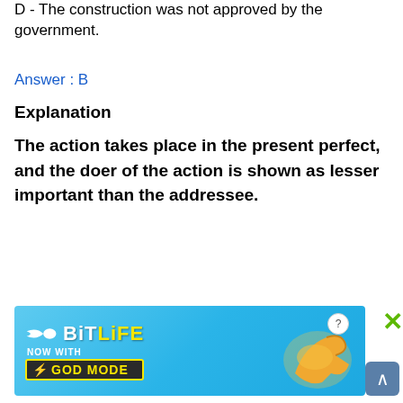D - The construction was not approved by the government.
Answer : B
Explanation
The action takes place in the present perfect, and the doer of the action is shown as lesser important than the addressee.
[Figure (other): BitLife game advertisement banner with 'NOW WITH GOD MODE' text and pointing hand graphic]